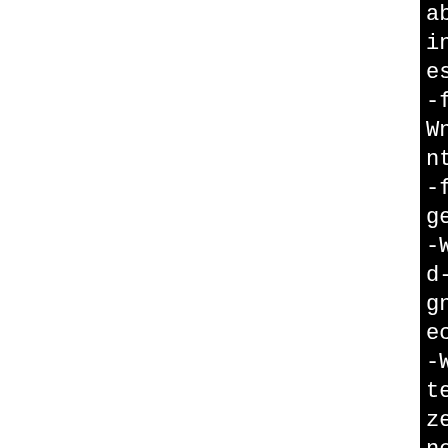[Figure (screenshot): Black background terminal/code block showing compiler flags and options, partially visible on right half of page. Text in white monospace font showing compiler flags like -findirect-branch-register, -fno-delete-null-pointer-checks, -frame-address, -Wno-format, -Wno-format-overflow, -Wno-maybe-uninitialized, -fno-allow-store-data-races, -fstack-protector, -Wno-unused-but-set-variable, -fno-var-tracking-assignments, -gsplit-dwarf, -gdwarf, -mrecord-mcount, -mfentry, -DCO, -Wdeclaration-after-statement, -Wpointer-sign, -Wno-stringop-truncation, -Wno-zero-length-bounds, -Wno-array-bounds, -Wno-stringop-overflow, -Wno-maybe-uninitialized, -fno-allow, -fno-merge-all-constants, -fno-stack-check, -Werror=implicit-int, -Werror=implicit-function-declaration, -Werror=date-time, -Wno-incompatible-pointer-types, -Wno-unterminated-init, -fmacro-prefix-map, -Wpacked-not-aligned, -include]